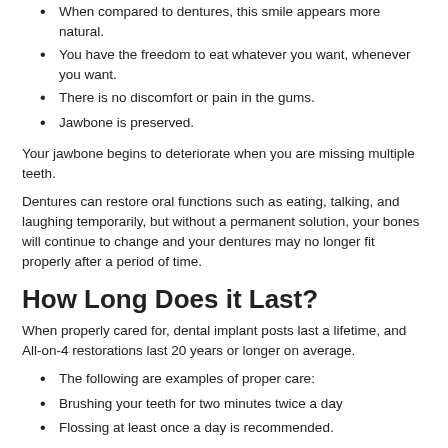When compared to dentures, this smile appears more natural.
You have the freedom to eat whatever you want, whenever you want.
There is no discomfort or pain in the gums.
Jawbone is preserved.
Your jawbone begins to deteriorate when you are missing multiple teeth.
Dentures can restore oral functions such as eating, talking, and laughing temporarily, but without a permanent solution, your bones will continue to change and your dentures may no longer fit properly after a period of time.
How Long Does it Last?
When properly cared for, dental implant posts last a lifetime, and All-on-4 restorations last 20 years or longer on average.
The following are examples of proper care:
Brushing your teeth for two minutes twice a day
Flossing at least once a day is recommended.
Visiting your dentist for cleanings and exams on a regular basis
Consuming a well-balanced diet
Treating your dental restorations as if they were natural teeth
If you grind or clench your teeth, you should wear a nightguard.